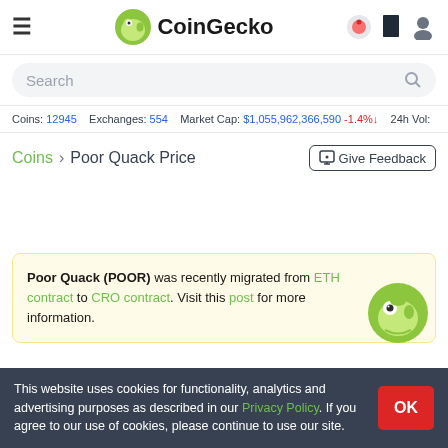CoinGecko
Search
Coins: 12945   Exchanges: 554   Market Cap: $1,055,962,366,590 -1.4%↓   24h Vol:
Coins > Poor Quack Price   Give Feedback
Poor Quack (POOR) was recently migrated from ETH contract to CRO contract. Visit this post for more information.
This website uses cookies for functionality, analytics and advertising purposes as described in our Privacy Policy. If you agree to our use of cookies, please continue to use our site.